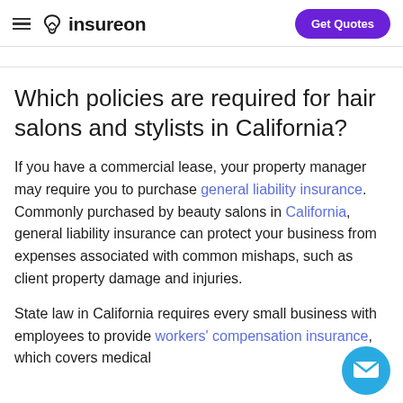insureon | Get Quotes
Which policies are required for hair salons and stylists in California?
If you have a commercial lease, your property manager may require you to purchase general liability insurance. Commonly purchased by beauty salons in California, general liability insurance can protect your business from expenses associated with common mishaps, such as client property damage and injuries.
State law in California requires every small business with employees to provide workers' compensation insurance, which covers medical